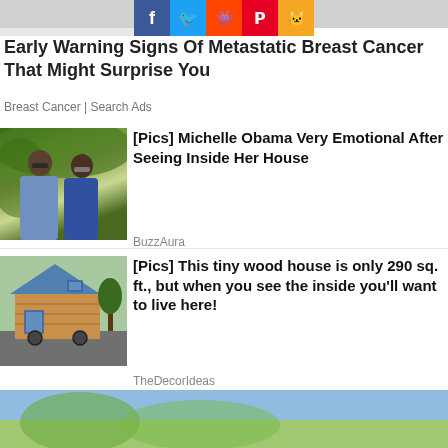[Figure (screenshot): Social media share buttons: Facebook (blue), Twitter (light blue), Reddit (orange), Pinterest (red), Google+ (orange)]
Early Warning Signs Of Metastatic Breast Cancer That Might Surprise You
Breast Cancer | Search Ads
[Figure (photo): Photo of two people (resembling Barack Obama and a woman) standing outdoors in a garden setting]
[Pics] Michelle Obama Very Emotional After Seeing Inside Her House
BuzzAura
[Figure (photo): Photo of a small wooden tiny house on wheels with blue metal roof and blue window trim]
[Pics] This tiny wood house is only 290 sq. ft., but when you see the inside you'll want to live here!
TheDecorIdeas
[Figure (photo): Bottom partial photo showing blue sky and greenery]